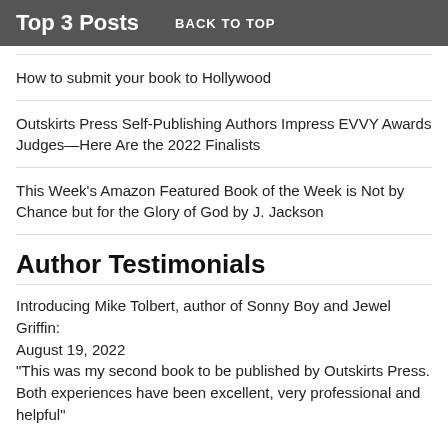Top 3 Posts   BACK TO TOP
How to submit your book to Hollywood
Outskirts Press Self-Publishing Authors Impress EVVY Awards Judges—Here Are the 2022 Finalists
This Week's Amazon Featured Book of the Week is Not by Chance but for the Glory of God by J. Jackson
Author Testimonials
Introducing Mike Tolbert, author of Sonny Boy and Jewel Griffin:
August 19, 2022
"This was my second book to be published by Outskirts Press. Both experiences have been excellent, very professional and helpful"